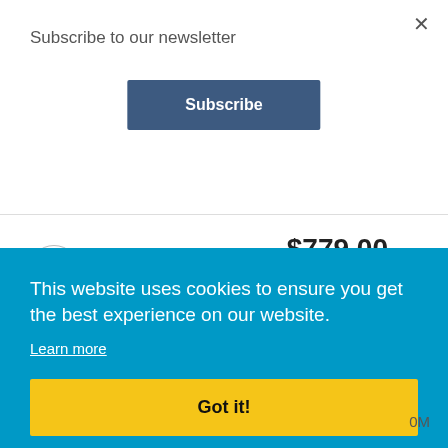Subscribe to our newsletter
×
Subscribe
$779.00
Buy now and pay later with PayPal. Learn more
[Figure (illustration): Cart icon circle and two wood-finish color swatches]
This website uses cookies to ensure you get the best experience on our website.
Learn more
Got it!
0M